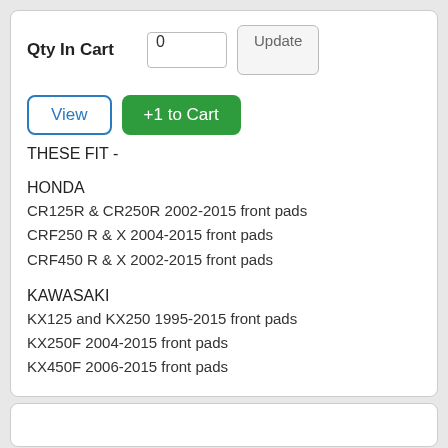Qty In Cart  0  Update
View  +1 to Cart
THESE FIT -
HONDA
CR125R & CR250R 2002-2015 front pads
CRF250 R & X 2004-2015 front pads
CRF450 R & X 2002-2015 front pads
KAWASAKI
KX125 and KX250 1995-2015 front pads
KX250F 2004-2015 front pads
KX450F 2006-2015 front pads